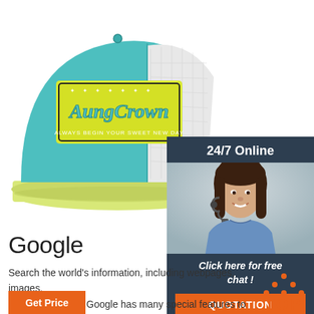[Figure (photo): A teal/turquoise and white mesh trucker hat with a yellow brim. The hat features an embroidered patch that reads 'AungCrown' in script lettering on a yellow background with decorative stars. Text below reads 'ALWAYS BEGIN YOUR SWEET NEW DAY'.]
[Figure (photo): 24/7 online chat support widget on dark navy background. Shows a smiling woman with dark hair wearing a headset/microphone. Below shows text 'Click here for free chat!' and an orange 'QUOTATION' button.]
Google
Search the world's information, including webpages, images, videos and more. Google has many special features to help you find exactly what you're looking for.
[Figure (other): Orange 'TOP' button with upward pointing arrows made of dots above the text.]
Get Price